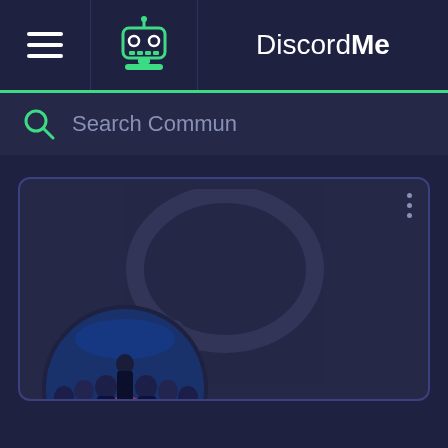DiscordMe
Search Commun
[Figure (screenshot): DiscordMe website screenshot showing navigation bar with hamburger menu, robot icon, and DiscordMe logo; search bar with 'Search Commun' placeholder; a server card with Discord Me watermark, a circular server avatar showing a group of people seated in a formal setting, and an Offline button in the bottom right.]